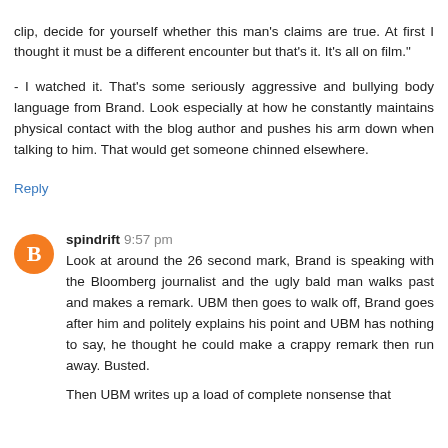clip, decide for yourself whether this man's claims are true. At first I thought it must be a different encounter but that's it. It's all on film."

- I watched it. That's some seriously aggressive and bullying body language from Brand. Look especially at how he constantly maintains physical contact with the blog author and pushes his arm down when talking to him. That would get someone chinned elsewhere.
Reply
spindrift 9:57 pm
Look at around the 26 second mark, Brand is speaking with the Bloomberg journalist and the ugly bald man walks past and makes a remark. UBM then goes to walk off, Brand goes after him and politely explains his point and UBM has nothing to say, he thought he could make a crappy remark then run away. Busted.

Then UBM writes up a load of complete nonsense that